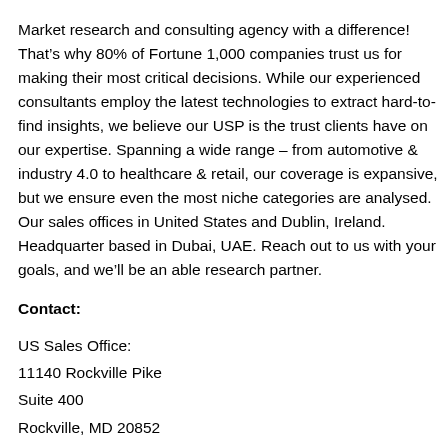Market research and consulting agency with a difference! That's why 80% of Fortune 1,000 companies trust us for making their most critical decisions. While our experienced consultants employ the latest technologies to extract hard-to-find insights, we believe our USP is the trust clients have on our expertise. Spanning a wide range – from automotive & industry 4.0 to healthcare & retail, our coverage is expansive, but we ensure even the most niche categories are analysed. Our sales offices in United States and Dublin, Ireland. Headquarter based in Dubai, UAE. Reach out to us with your goals, and we'll be an able research partner.
Contact:
US Sales Office:
11140 Rockville Pike
Suite 400
Rockville, MD 20852